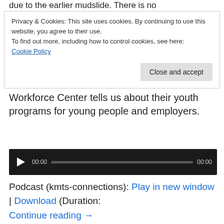due to the earlier mudslide. There is no
Privacy & Cookies: This site uses cookies. By continuing to use this website, you agree to their use.
To find out more, including how to control cookies, see here:
Cookie Policy
Close and accept
Workforce Center tells us about their youth programs for young people and employers.
[Figure (other): Audio player widget with play button, 00:00 timestamp, progress bar, and 00:00 duration display on dark background]
Podcast (kmts-connections): Play in new window | Download (Duration:
Continue reading →